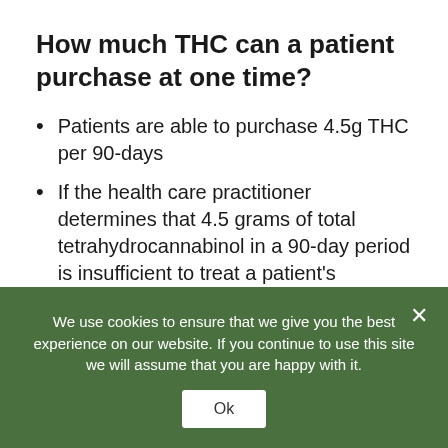How much THC can a patient purchase at one time?
Patients are able to purchase 4.5g THC per 90-days
If the health care practitioner determines that 4.5 grams of total tetrahydrocannabinol in a 90-day period is insufficient to treat a patient's qualifying debilitating medical condition and the patient has participated in the medical
We use cookies to ensure that we give you the best experience on our website. If you continue to use this site we will assume that you are happy with it.